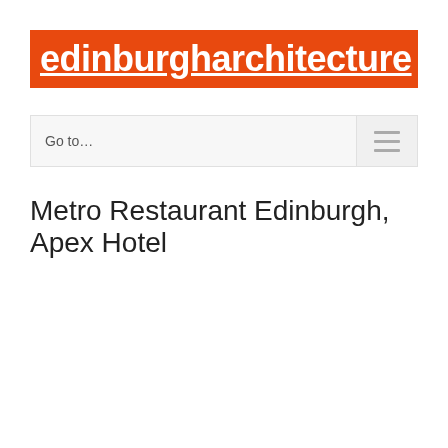edinburgharchitecture
Go to…
Metro Restaurant Edinburgh, Apex Hotel